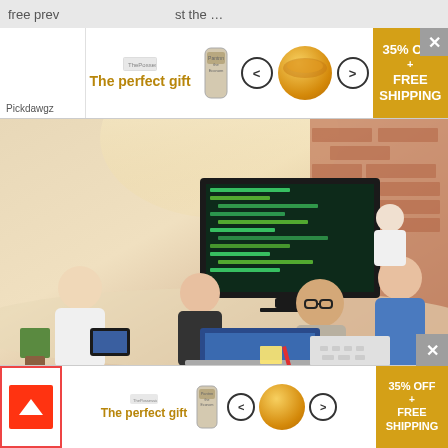free prev...st the ...
[Figure (screenshot): Advertisement banner: The perfect gift, with food canister images, navigation arrows, 35% OFF + FREE SHIPPING badge, and close button. Shows 'Pickdawgz' label.]
[Figure (photo): Office scene with multiple people working at computers and laptops around a conference table. Brick wall in background.]
Search For SOC Compliance Audit Software Platform
Yahoo! Search | Sponsored
[Figure (screenshot): Bottom advertisement banner: The perfect gift, with food canister images, navigation arrows, 35% OFF + FREE SHIPPING badge. Scroll-up icon on left and close X button.]